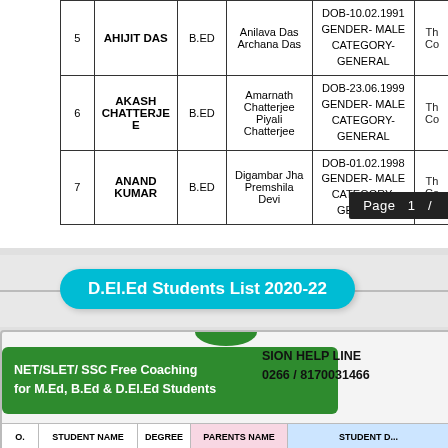| No. | STUDENT NAME | DEGREE | PARENTS NAME | DETAILS |  |
| --- | --- | --- | --- | --- | --- |
| 5 | AHIJIT DAS | B.ED | Anilava Das
Archana Das | DOB-10.02.1991
GENDER- MALE
CATEGORY-GENERAL | Th
Co |
| 6 | AKASH CHATTERJEE | B.ED | Amarnath Chatterjee
Piyali Chatterjee | DOB-23.06.1999
GENDER- MALE
CATEGORY-GENERAL | Th
Co |
| 7 | ANAND KUMAR | B.ED | Digambar Jha
Premshila Devi | DOB-01.02.1998
GENDER- MALE
CATEGORY-GENERAL | Th
Co |
Page 1 /
D.El.Ed Students List 2020-22
NET/SLET/ SSC Free Coaching for M.Ed, B.Ed & D.El.Ed Students
ISION HELP LINE 0266 / 8170031466
| O. | STUDENT NAME | DEGREE | PARENTS NAME | STUDENT D... |
| --- | --- | --- | --- | --- |